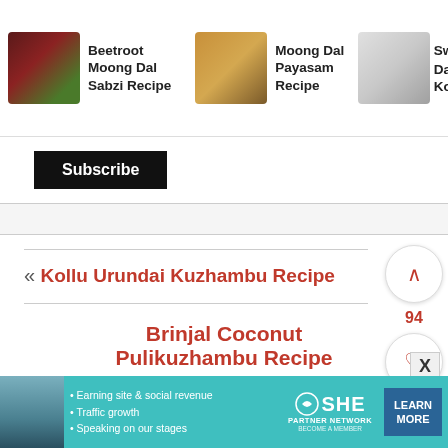[Figure (screenshot): Recipe card strip showing Beetroot Moong Dal Sabzi Recipe with food image]
Beetroot Moong Dal Sabzi Recipe
Moong Dal Payasam Recipe
Sweet Moong Dal Kozhukatta
Subscribe
« Kollu Urundai Kuzhambu Recipe
94
Brinjal Coconut Pulikuzhambu Recipe
[Figure (screenshot): SHE Partner Network advertisement banner with woman photo, bullet points about earning site & social revenue, traffic growth, speaking on stages, and a Learn More button]